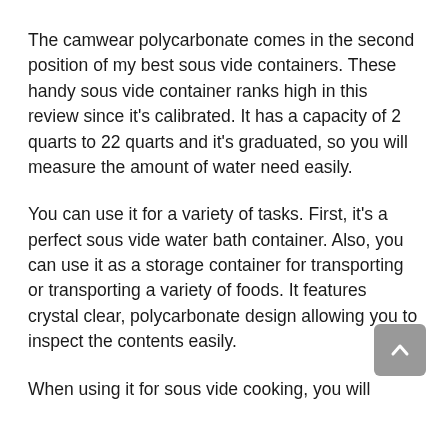The camwear polycarbonate comes in the second position of my best sous vide containers. These handy sous vide container ranks high in this review since it's calibrated. It has a capacity of 2 quarts to 22 quarts and it's graduated, so you will measure the amount of water need easily.
You can use it for a variety of tasks. First, it's a perfect sous vide water bath container. Also, you can use it as a storage container for transporting or transporting a variety of foods. It features crystal clear, polycarbonate design allowing you to inspect the contents easily.
When using it for sous vide cooking, you will